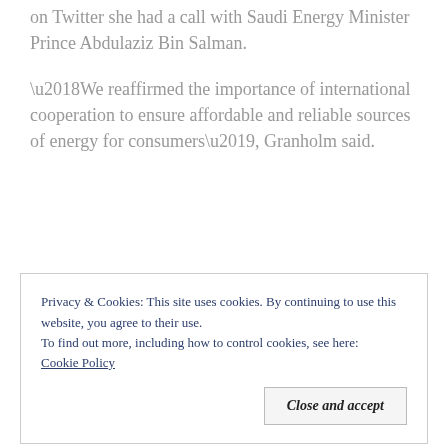on Twitter she had a call with Saudi Energy Minister Prince Abdulaziz Bin Salman.
‘We reaffirmed the importance of international cooperation to ensure affordable and reliable sources of energy for consumers’, Granholm said.
Privacy & Cookies: This site uses cookies. By continuing to use this website, you agree to their use.
To find out more, including how to control cookies, see here: Cookie Policy
Close and accept